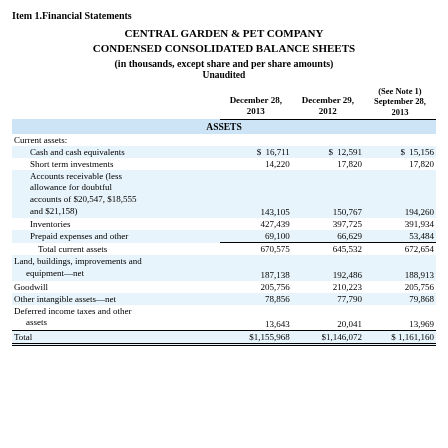Item 1. Financial Statements
CENTRAL GARDEN & PET COMPANY
CONDENSED CONSOLIDATED BALANCE SHEETS
(in thousands, except share and per share amounts)
Unaudited
|  | December 28, 2013 | December 29, 2012 | (See Note 1) September 28, 2013 |
| --- | --- | --- | --- |
| ASSETS |  |  |  |
| Current assets: |  |  |  |
| Cash and cash equivalents | $ 16,711 | $ 12,591 | $ 15,156 |
| Short term investments | 14,220 | 17,820 | 17,820 |
| Accounts receivable (less allowance for doubtful accounts of $20,547, $18,555 and $21,158) | 143,105 | 150,767 | 194,260 |
| Inventories | 427,439 | 397,725 | 391,934 |
| Prepaid expenses and other | 69,100 | 66,629 | 53,484 |
| Total current assets | 670,575 | 645,532 | 672,654 |
| Land, buildings, improvements and equipment—net | 187,138 | 192,486 | 188,913 |
| Goodwill | 205,756 | 210,223 | 205,756 |
| Other intangible assets—net | 78,856 | 77,790 | 79,868 |
| Deferred income taxes and other assets | 13,643 | 20,041 | 13,969 |
| Total | $1,155,968 | $1,146,072 | $ 1,161,160 |